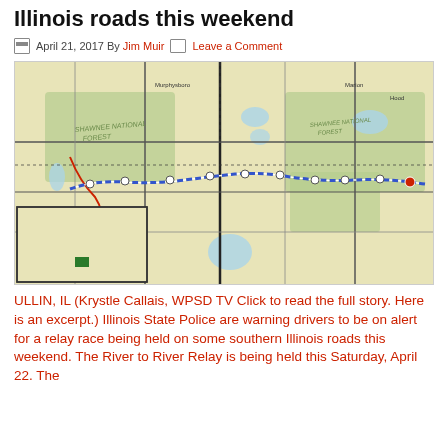Illinois roads this weekend
April 21, 2017 By Jim Muir   Leave a Comment
[Figure (map): Map of southern Illinois showing the River to River Relay route marked with a dashed blue/white/red line crossing through Shawnee National Forest area from west to east.]
ULLIN, IL (Krystle Callais, WPSD TV Click to read the full story. Here is an excerpt.) Illinois State Police are warning drivers to be on alert for a relay race being held on some southern Illinois roads this weekend. The River to River Relay is being held this Saturday, April 22. The